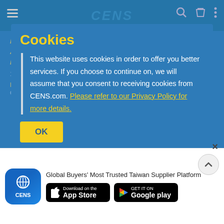CENS
Material, Alloy Steel, Carbon Steel, Stainless Steel, Aluminum, Brass, ...
Cookies
This website uses cookies in order to offer you better services. If you choose to continue on, we will assume that you consent to receiving cookies from CENS.com. Please refer to our Privacy Policy for more details.
OK
MORE   Inquire Now   Add To Inquiry List
Global Buyers' Most Trusted Taiwan Supplier Platform
Download on the App Store
GET IT ON Google play